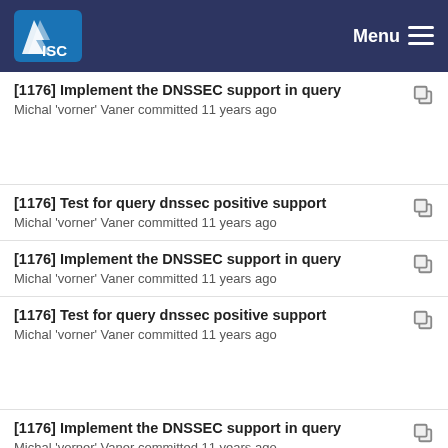ISC — Menu
[1176] Implement the DNSSEC support in query
Michal 'vorner' Vaner committed 11 years ago
[1176] Test for query dnssec positive support
Michal 'vorner' Vaner committed 11 years ago
[1176] Implement the DNSSEC support in query
Michal 'vorner' Vaner committed 11 years ago
[1176] Test for query dnssec positive support
Michal 'vorner' Vaner committed 11 years ago
[1176] Implement the DNSSEC support in query
Michal 'vorner' Vaner committed 11 years ago